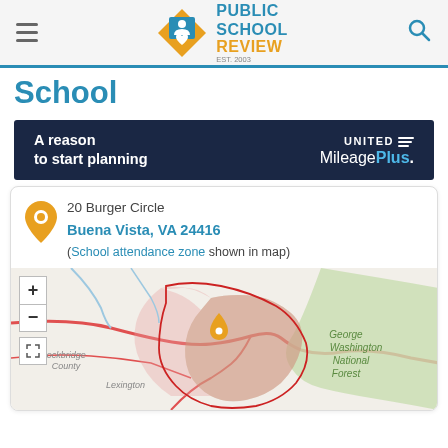Public School Review
School
[Figure (screenshot): United MileagePlus advertisement banner with text 'A reason to start planning' on dark navy background]
20 Burger Circle
Buena Vista, VA 24416
(School attendance zone shown in map)
[Figure (map): Interactive map showing the school location at 20 Burger Circle, Buena Vista, VA with school attendance zone boundary highlighted. Shows Rockbridge County, Lexington, and George Washington National Forest areas.]